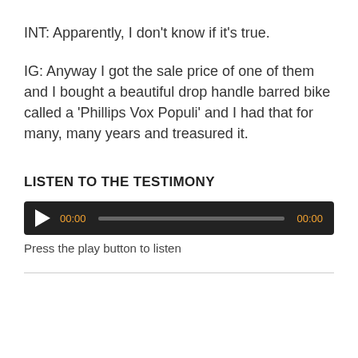INT: Apparently, I don’t know if it’s true.
IG: Anyway I got the sale price of one of them and I bought a beautiful drop handle barred bike called a ‘Phillips Vox Populi’ and I had that for many, many years and treasured it.
LISTEN TO THE TESTIMONY
[Figure (other): Audio player with play button, time display showing 00:00, progress bar, and end time 00:00]
Press the play button to listen